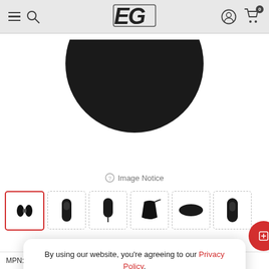EG website header with hamburger menu, search icon, EG logo, user icon, and cart (0)
[Figure (photo): Partial view of a black computer mouse/peripheral product, cropped at top showing dark rounded top portion against white background]
Image Notice
[Figure (photo): Row of 6 product thumbnail images of black gaming mouse in various angles. First thumbnail is selected with red border.]
By using our website, you're agreeing to our Privacy Policy.
Accept
MPN: